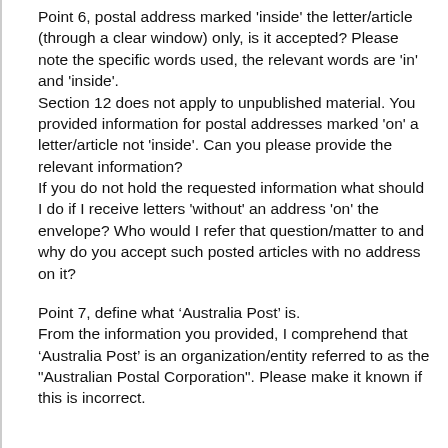Point 6, postal address marked 'inside' the letter/article (through a clear window) only, is it accepted? Please note the specific words used, the relevant words are 'in' and 'inside'. Section 12 does not apply to unpublished material. You provided information for postal addresses marked 'on' a letter/article not 'inside'. Can you please provide the relevant information? If you do not hold the requested information what should I do if I receive letters 'without' an address 'on' the envelope? Who would I refer that question/matter to and why do you accept such posted articles with no address on it?
Point 7, define what ‘Australia Post’ is. From the information you provided, I comprehend that ‘Australia Post’ is an organization/entity referred to as the "Australian Postal Corporation". Please make it known if this is incorrect.